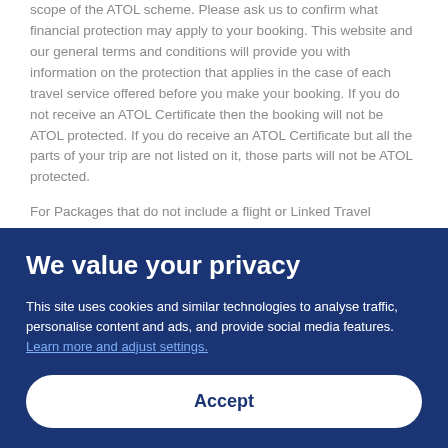scope of the ATOL scheme. Please ask us to confirm what financial protection may apply to your booking. This website and our general terms and conditions will provide you with information on the protection that applies in the case of each travel service offered before you make your booking. If you do not receive an ATOL Certificate then the booking will not be ATOL protected. If you do receive an ATOL Certificate but all the parts of your trip are not listed on it, those parts will not be ATOL protected.
For Packages that do not include a flight or Linked Travel Arrangements created on ebookers.com, all monies paid over in the case of non flight-inclusive Packages, or any monies paid directly to us in the case of Linked Travel Arrangements, are fully protected by insurance in the event of our insolvency. This insurance protection has been arranged by International Passenger Protection Limited
We value your privacy
This site uses cookies and similar technologies to analyse traffic, personalise content and ads, and provide social media features. Learn more and adjust settings.
Accept